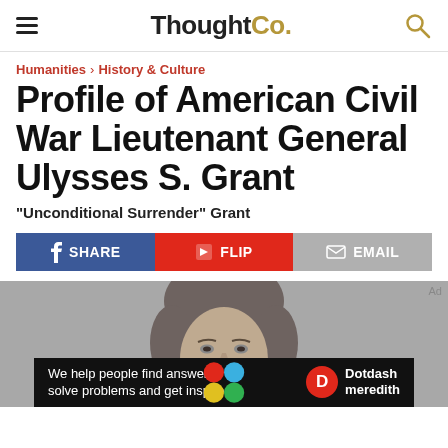ThoughtCo.
Humanities › History & Culture
Profile of American Civil War Lieutenant General Ulysses S. Grant
"Unconditional Surrender" Grant
SHARE | FLIP | EMAIL
[Figure (photo): Black and white portrait photograph of Ulysses S. Grant, showing his face and upper body against a gray background.]
We help people find answers, solve problems and get inspired. Dotdash meredith